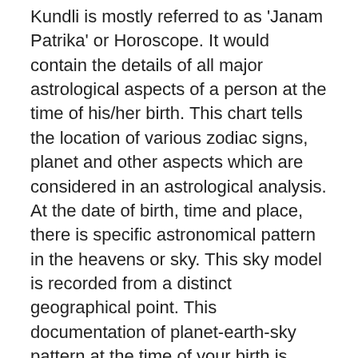Kundli is mostly referred to as 'Janam Patrika' or Horoscope. It would contain the details of all major astrological aspects of a person at the time of his/her birth. This chart tells the location of various zodiac signs, planet and other aspects which are considered in an astrological analysis. At the date of birth, time and place, there is specific astronomical pattern in the heavens or sky. This sky model is recorded from a distinct geographical point. This documentation of planet-earth-sky pattern at the time of your birth is known as Kundli Chart.
Dating, while exciting, can be pretty tough. Getting to know someone for the first time can be incredibly awkward — especially when the relationship begins behind a screen. Although the internet has made meeting new people much easier, it a The new